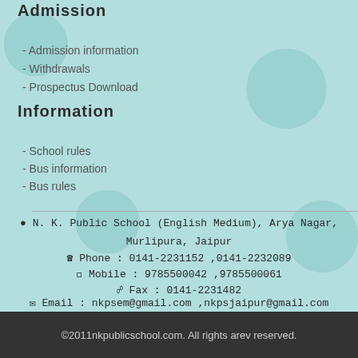Admission
- Admission information
- Withdrawals
- Prospectus Download
Information
- School rules
- Bus information
- Bus rules
N. K. Public School (English Medium), Arya Nagar, Murlipura, Jaipur
Phone : 0141-2231152 ,0141-2232089
Mobile : 9785500042 ,9785500061
Fax : 0141-2231482
Email : nkpsem@gmail.com ,nkpsjaipur@gmail.com
©2011nkpublicschool.com. All rights arev reserved.